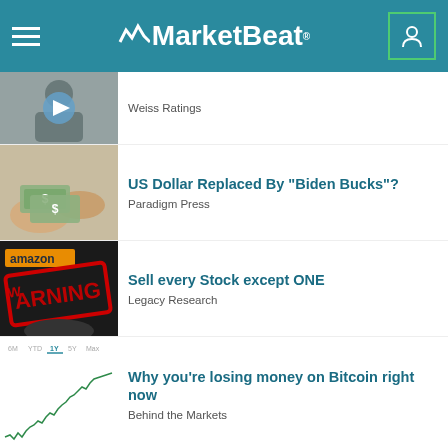MarketBeat
Weiss Ratings
US Dollar Replaced By "Biden Bucks"?
Paradigm Press
Sell every Stock except ONE
Legacy Research
Why you’re losing money on Bitcoin right now
Behind the Markets